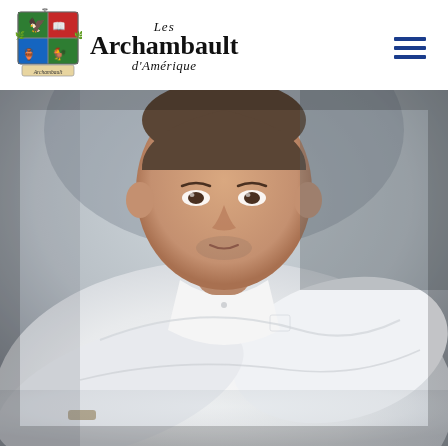[Figure (logo): Les Archambault d'Amérique heraldic crest logo with colorful coat of arms divided into four quadrants (green with bird, red with book/crest, blue with objects, green with bird), decorative scroll banner at bottom]
Les Archambault d'Amérique
[Figure (photo): Close-up photograph of a man wearing a white long-sleeve shirt, leaning forward with arms crossed, looking toward camera with a neutral expression. Blurred background with soft lighting.]